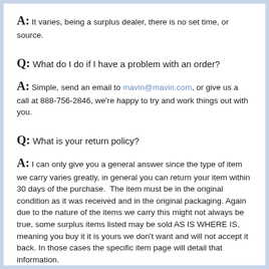A: It varies, being a surplus dealer, there is no set time, or source.
Q: What do I do if I have a problem with an order?
A: Simple, send an email to mavin@mavin.com, or give us a call at 888-756-2846, we're happy to try and work things out with you.
Q: What is your return policy?
A: I can only give you a general answer since the type of item we carry varies greatly, in general you can return your item within 30 days of the purchase.  The item must be in the original condition as it was received and in the original packaging. Again due to the nature of the items we carry this might not always be true, some surplus items listed may be sold AS IS WHERE IS, meaning you buy it it is yours we don't want and will not accept it back. In those cases the specific item page will detail that information.